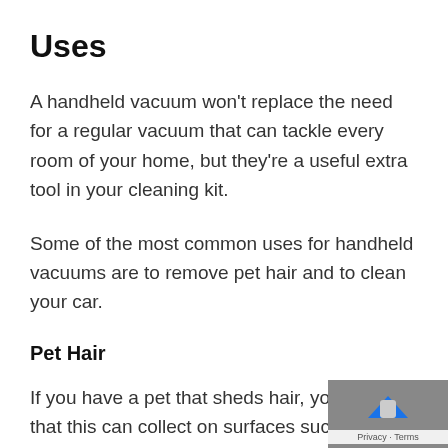Uses
A handheld vacuum won't replace the need for a regular vacuum that can tackle every room of your home, but they're a useful extra tool in your cleaning kit.
Some of the most common uses for handheld vacuums are to remove pet hair and to clean your car.
Pet Hair
If you have a pet that sheds hair, you'll k that this can collect on surfaces such as your